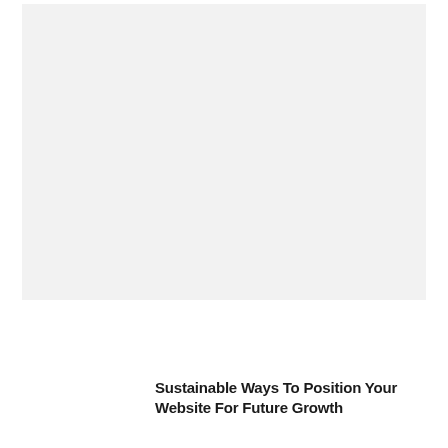[Figure (photo): Large light gray rectangular placeholder image occupying the upper portion of the page]
Sustainable Ways To Position Your Website For Future Growth